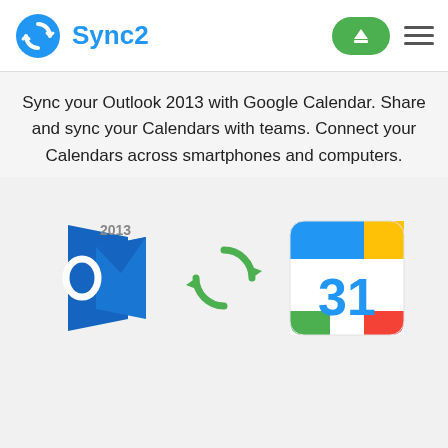Sync2
Sync your Outlook 2013 with Google Calendar. Share and sync your Calendars with teams. Connect your Calendars across smartphones and computers.
[Figure (illustration): Microsoft Outlook 2013 logo, a sync/refresh icon (green circular arrows), and Google Calendar icon with the number 31]